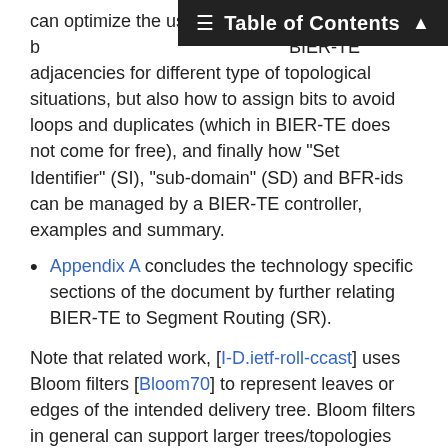Table of Contents
can optimize the use of BP by providing appropriate BIER-TE adjacencies for different type of topological situations, but also how to assign bits to avoid loops and duplicates (which in BIER-TE does not come for free), and finally how "Set Identifier" (SI), "sub-domain" (SD) and BFR-ids can be managed by a BIER-TE controller, examples and summary.
Appendix A concludes the technology specific sections of the document by further relating BIER-TE to Segment Routing (SR).
Note that related work, [I-D.ietf-roll-ccast] uses Bloom filters [Bloom70] to represent leaves or edges of the intended delivery tree. Bloom filters in general can support larger trees/topologies with fewer addressing bits than explicit BitStrings, but they introduce the heuristic risk of false positives and cannot clear bits in the BitString during forwarding to avoid loops. For these reasons, BIER-TE uses explicit BitStrings like BIER. The explicit BitStrings of BIER-TE can also be seen as a special type of Bloom filter, and this is